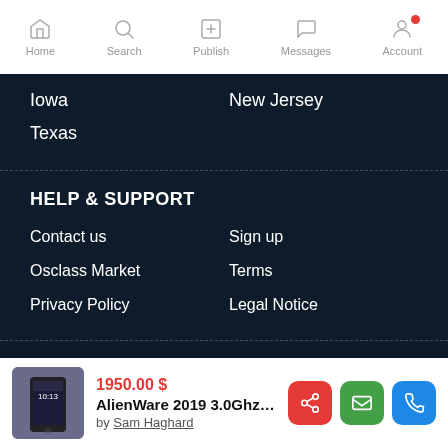Home | Search | Publish | Messages | Account
Iowa
New Jersey
Texas
HELP & SUPPORT
Contact us
Sign up
Osclass Market
Terms
Privacy Policy
Legal Notice
Get in Touch
1950.00 $
AlienWare 2019 3.0Ghz 2...
by Sam Haghard